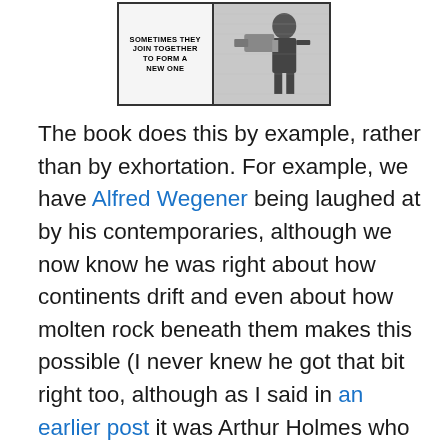[Figure (illustration): Comic-style illustration panel with text 'SOMETIMES THEY JOIN TOGETHER TO FORM A NEW ONE' on the left side and a figure/person with equipment on the right side]
The book does this by example, rather than by exhortation. For example, we have Alfred Wegener being laughed at by his contemporaries, although we now know he was right about how continents drift and even about how molten rock beneath them makes this possible (I never knew he got that bit right too, although as I said in an earlier post it was Arthur Holmes who explained what drives the process). We are given four separate theories about what wiped out the dinosaurs, and when we are told which one is correct (or rather, as the book says, “the one most scientists favour”) we are given a quick rundown of the evidence; cratering on planets and asteroids, other collisions between Earth and smaller asteroids, the